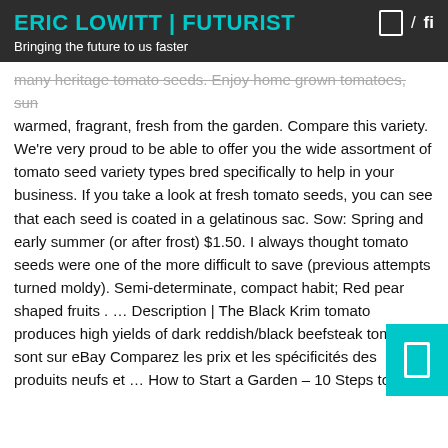ERIC LOWITT | FUTURIST
Bringing the future to us faster
many heritage tomato seeds. Enjoy home grown tomatoes, sun warmed, fragrant, fresh from the garden. Compare this variety. We're very proud to be able to offer you the wide assortment of tomato seed variety types bred specifically to help in your business. If you take a look at fresh tomato seeds, you can see that each seed is coated in a gelatinous sac. Sow: Spring and early summer (or after frost) $1.50. I always thought tomato seeds were one of the more difficult to save (previous attempts turned moldy). Semi-determinate, compact habit; Red pear shaped fruits . … Description | The Black Krim tomato produces high yields of dark reddish/black beefsteak tomatoes. sont sur eBay Comparez les prix et les spécificités des produits neufs et … How to Start a Garden – 10 Steps to Gardening for Beginners, Free Gardening Journal Templates and Other Garden Record Keeping Tips, The Practical Greenhouse Guide – What You Need to Know Before You Build a Greenhouse, Filed Under: Gardening Ta… With: growing tomatoes, how to grow tomatoes, seed germination, seed saving, seed storage, tomatoes. To save tomato seeds, you